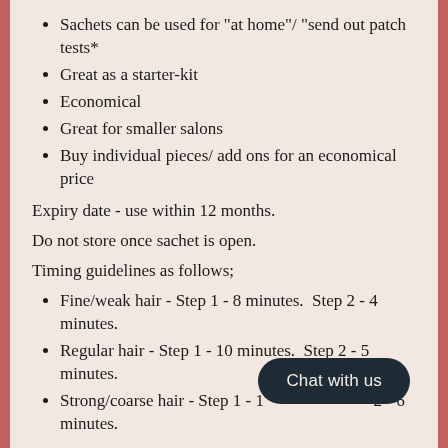Sachets can be used for "at home"/ "send out patch tests*
Great as a starter-kit
Economical
Great for smaller salons
Buy individual pieces/ add ons for an economical price
Expiry date - use within 12 months.
Do not store once sachet is open.
Timing guidelines as follows;
Fine/weak hair - Step 1 - 8 minutes.  Step 2 - 4 minutes.
Regular hair - Step 1 - 10 minutes.  Step 2 - 5 minutes.
Strong/coarse hair - Step 1 - 1[...] 2 - 6 minutes.
Note: This product is intended for use by Qualified